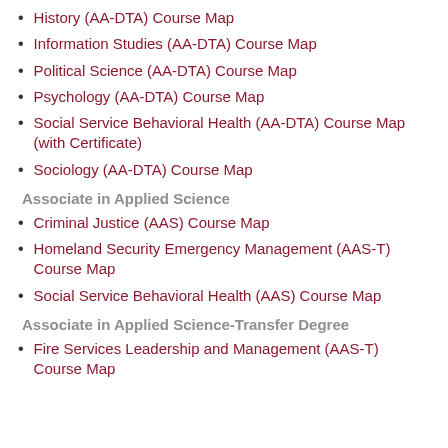History (AA-DTA) Course Map
Information Studies (AA-DTA) Course Map
Political Science (AA-DTA) Course Map
Psychology (AA-DTA) Course Map
Social Service Behavioral Health (AA-DTA) Course Map (with Certificate)
Sociology (AA-DTA) Course Map
Associate in Applied Science
Criminal Justice (AAS) Course Map
Homeland Security Emergency Management (AAS-T) Course Map
Social Service Behavioral Health (AAS) Course Map
Associate in Applied Science-Transfer Degree
Fire Services Leadership and Management (AAS-T) Course Map